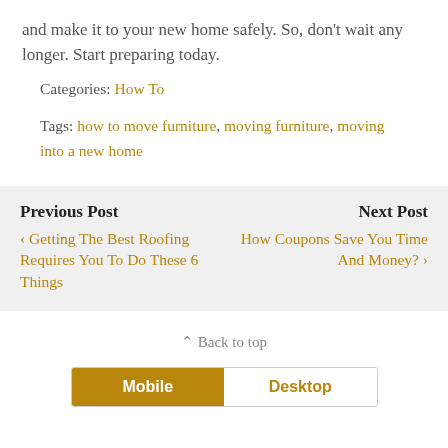and make it to your new home safely. So, don't wait any longer. Start preparing today.
Categories: How To
Tags: how to move furniture, moving furniture, moving into a new home
Previous Post
‹ Getting The Best Roofing Requires You To Do These 6 Things
Next Post
How Coupons Save You Time And Money? ›
⌃ Back to top
Mobile  Desktop